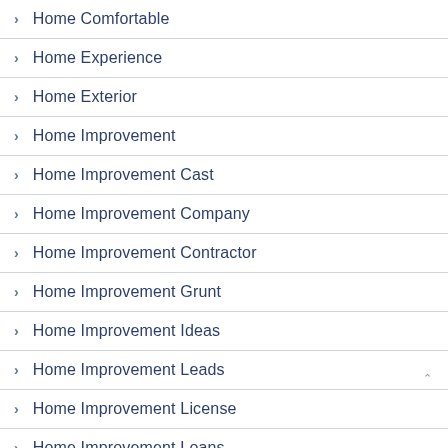Home Comfortable
Home Experience
Home Exterior
Home Improvement
Home Improvement Cast
Home Improvement Company
Home Improvement Contractor
Home Improvement Grunt
Home Improvement Ideas
Home Improvement Leads
Home Improvement License
Home Improvement Loans